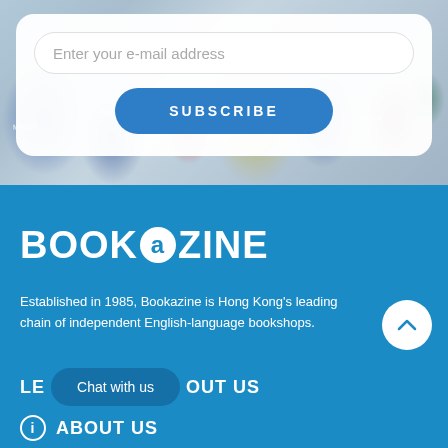[Figure (screenshot): Email subscription card overlaid on blurred book cover images background. White rounded card contains an email input field placeholder 'Enter your e-mail address' and a blue 'SUBSCRIBE' button.]
Enter your e-mail address
SUBSCRIBE
[Figure (logo): BOOKAZINE logo in large bold white text on blue background, with the letter 'a' displayed inside a white circle in the brand's style.]
Established in 1985, Bookazine is Hong Kong's leading chain of independent English-language bookshops.
Chat with us
LEARN MORE  ABOUT US
ABOUT US